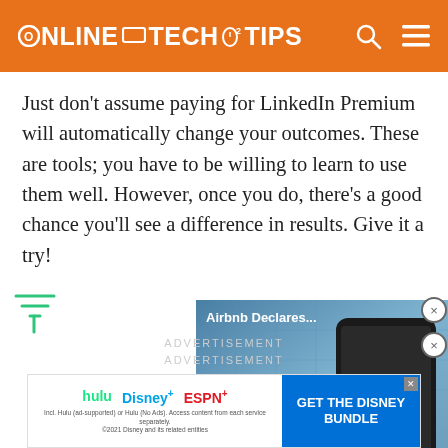Online Tech Tips
Just don’t assume paying for LinkedIn Premium will automatically change your outcomes. These are tools; you have to be willing to learn to use them well. However, once you do, there’s a good chance you’ll see a difference in results. Give it a try!
[Figure (screenshot): Airbnb video overlay showing a phone with Airbnb app and play button, labeled 'Airbnb Declares...']
[Figure (logo): Green filter/funnel icon]
ADVERTISEMENT
ADVERTISEMENT
[Figure (screenshot): Disney Bundle advertisement banner with Hulu, Disney+, ESPN+ logos and 'GET THE DISNEY BUNDLE' call to action]